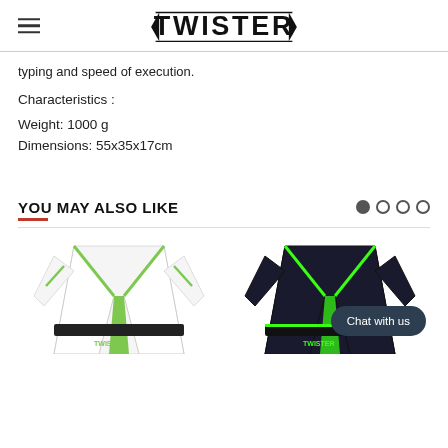TWISTER
typing and speed of execution.
Characteristics :
Weight: 1000 g
Dimensions: 55x35x17cm
YOU MAY ALSO LIKE
[Figure (photo): White BJJ gi/kimono with green accents and black belt]
[Figure (photo): Black BJJ gi/kimono with green accents, with a dark chat bubble overlay reading 'Chat with us']